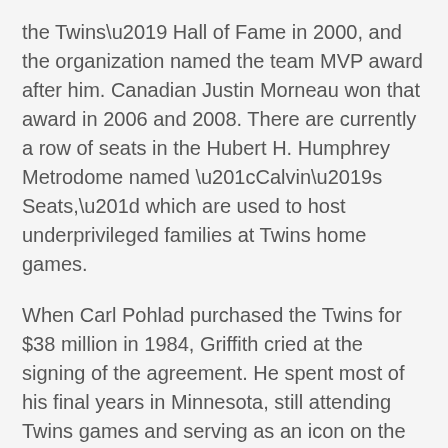the Twins' Hall of Fame in 2000, and the organization named the team MVP award after him. Canadian Justin Morneau won that award in 2006 and 2008. There are currently a row of seats in the Hubert H. Humphrey Metrodome named “Calvin’s Seats,” which are used to host underprivileged families at Twins home games.
When Carl Pohlad purchased the Twins for $38 million in 1984, Griffith cried at the signing of the agreement. He spent most of his final years in Minnesota, still attending Twins games and serving as an icon on the Minneapolis sports scene.
Calvin and his father were knows for